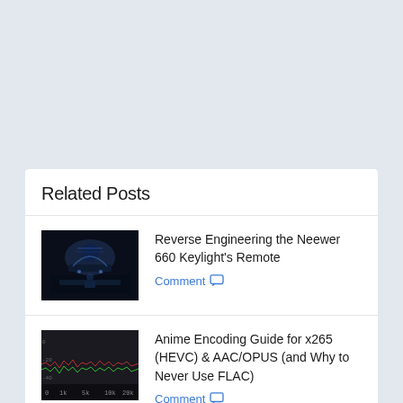Related Posts
Reverse Engineering the Neewer 660 Keylight's Remote
Comment
Anime Encoding Guide for x265 (HEVC) & AAC/OPUS (and Why to Never Use FLAC)
Comment
Video Fingerprinting